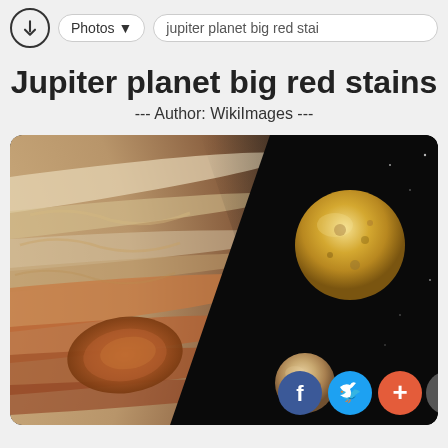Photos | jupiter planet big red stai
Jupiter planet big red stains
--- Author: WikiImages ---
[Figure (photo): Photo of Jupiter planet showing its surface with orange-red storm bands and the Great Red Spot, alongside two moons (one large golden-brown moon upper right, one smaller moon lower center), against a black space background. Social sharing buttons (Facebook, Twitter, Plus, Top) are overlaid at the bottom right.]